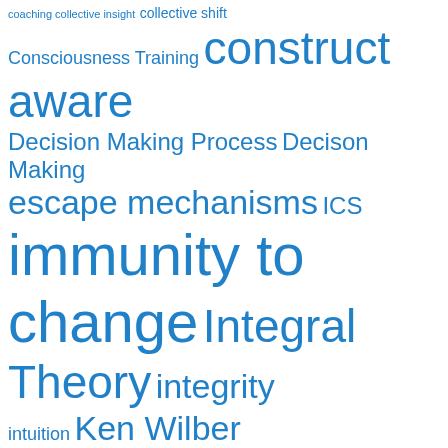[Figure (other): Tag cloud with blue terms related to leadership, consciousness, and transformative learning. Terms include: coaching collective insight, collective shift, Consciousness Training, construct aware, Decision Making Process, Decison Making, escape mechanisms, ICS, immunity to change, Integral Theory, integrity, intuition, Ken Wilber, Leadership, Otto Scharmer, personal reality, personal transformation, Peter Senge, power, presencing, Robert Kegan, shadow work, states of consciousness, Theory U, Thought Leadership, Transformation, Transformative processes, triple-loop awareness]